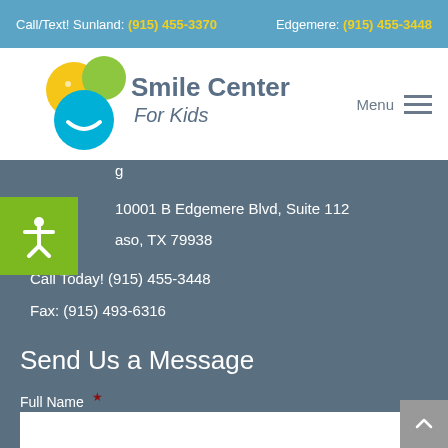Call/Text! Sunland: (915) 455-3370   Edgemere: (915) 455-3448
[Figure (logo): Smile Center For Kids logo with colorful circles (yellow, green, blue) and smiley face]
Menu
10001 B Edgemere Blvd, Suite 112
El Paso, TX 79938
Call Today! (915) 455-3448
Fax: (915) 493-6316
Send Us a Message
Full Name *